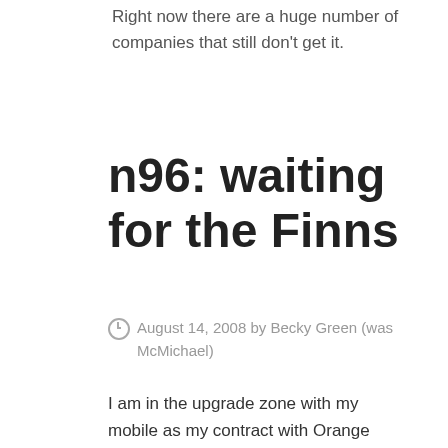Right now there are a huge number of companies that still don't get it.
n96: waiting for the Finns
⊙ August 14, 2008 by Becky Green (was McMichael)
I am in the upgrade zone with my mobile as my contract with Orange expires in 4 weeks....have been convinced an N96 is the way to go but